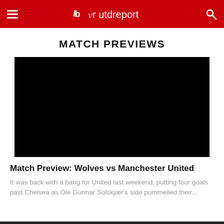utdreport
MATCH PREVIEWS
[Figure (photo): Black image placeholder for a match preview article thumbnail]
Match Preview: Wolves vs Manchester United
It was back with a bang for United last weekend, putting four goals past Chelsea as Ole Gunnar Solskjær's side pummelled their...